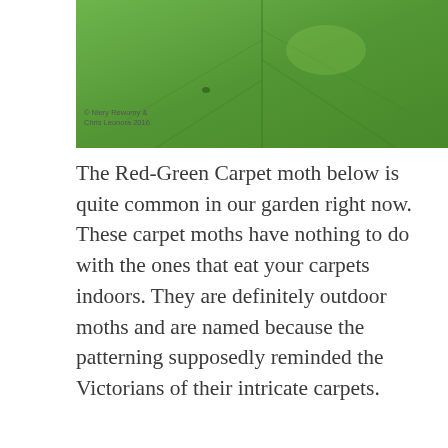[Figure (photo): Close-up photograph of a green leaf, partially cropped at top of page. The leaf appears glossy and bright green.]
© Niery Rewomy & Chris Leonora 2016
The Red-Green Carpet moth below is quite common in our garden right now. These carpet moths have nothing to do with the ones that eat your carpets indoors. They are definitely outdoor moths and are named because the patterning supposedly reminded the Victorians of their intricate carpets.
[Figure (photo): Close-up photograph of a Red-Green Carpet moth resting on a surface. The moth displays intricate green and reddish-brown patterning camouflaging it against a grey/stone background.]